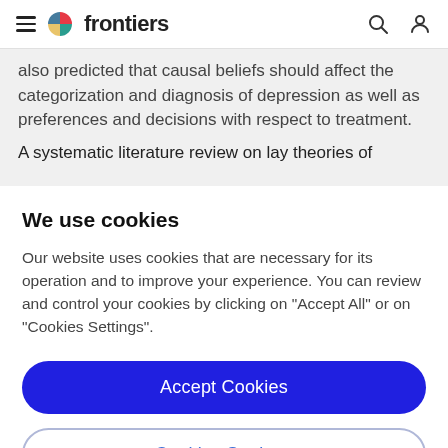frontiers
also predicted that causal beliefs should affect the categorization and diagnosis of depression as well as preferences and decisions with respect to treatment.
A systematic literature review on lay theories of
We use cookies
Our website uses cookies that are necessary for its operation and to improve your experience. You can review and control your cookies by clicking on "Accept All" or on "Cookies Settings".
Accept Cookies
Cookies Settings